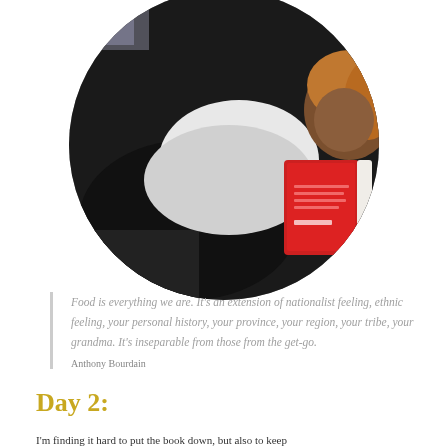[Figure (photo): Circular cropped photo of a woman lying on a couch reading a red book]
Food is everything we are. It's an extension of nationalist feeling, ethnic feeling, your personal history, your province, your region, your tribe, your grandma. It's inseparable from those from the get-go.
Anthony Bourdain
Day 2:
I'm finding it hard to put the book down, but also to keep